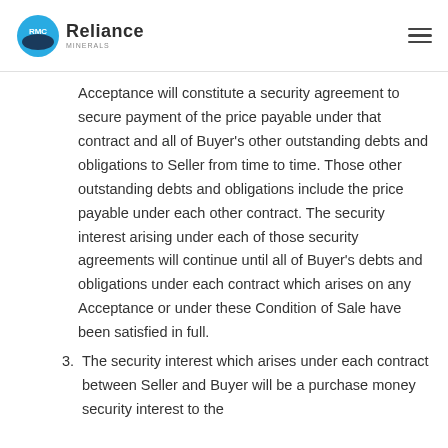Reliance Minerals
Acceptance will constitute a security agreement to secure payment of the price payable under that contract and all of Buyer's other outstanding debts and obligations to Seller from time to time. Those other outstanding debts and obligations include the price payable under each other contract. The security interest arising under each of those security agreements will continue until all of Buyer's debts and obligations under each contract which arises on any Acceptance or under these Condition of Sale have been satisfied in full.
3. The security interest which arises under each contract between Seller and Buyer will be a purchase money security interest to the extent that it secures the payment due...